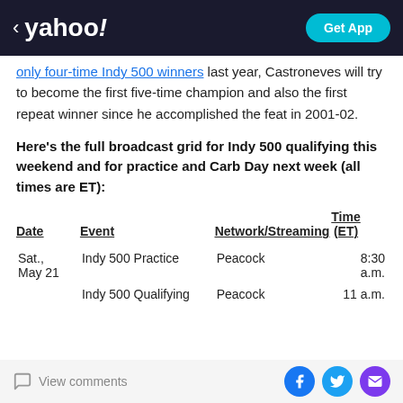yahoo! | Get App
only four-time Indy 500 winners last year, Castroneves will try to become the first five-time champion and also the first repeat winner since he accomplished the feat in 2001-02.
Here's the full broadcast grid for Indy 500 qualifying this weekend and for practice and Carb Day next week (all times are ET):
| Date | Event | Network/Streaming | Time (ET) |
| --- | --- | --- | --- |
| Sat., May 21 | Indy 500 Practice | Peacock | 8:30 a.m. |
|  | Indy 500 Qualifying | Peacock | 11 a.m. |
View comments | Facebook | Twitter | Email